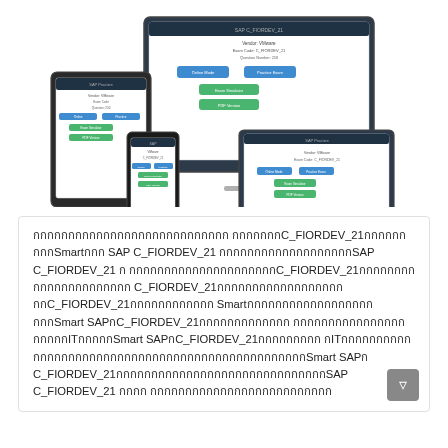[Figure (screenshot): Illustration of multiple devices (desktop monitor, laptop, tablet, smartphone) all showing a practice exam interface for SAP C_FIORDEV_21 certification, with blue and green buttons for Online Mode, Practice Exam, Exam Simulator, and PDF Version.]
กกกกกกกกกกกกกกกกกกกกกกกกกกกก กกกกกกกC_FIORDEV_21กกกกกกกกกSmart กกก SAP C_FIORDEV_21 กกกกกกกกกกกกกกกกกกกSAP C_FIORDEV_21 ก กกกกกกกกกกกกกกกกกกกกกC_FIORDEV_21กกกกกกกกกกกกกกกกกกกกกก C_FIORDEV_21กกกกกกกกกกกกกกกกกกกกC_FIORDEV_21กกกกกกกกกกกก SmartกกกกกกกกกกกกกกกกกกกกกSmart SAPกC_FIORDEV_21กกกกกกกกกกกกก กกกกกกกกกกกกกกกกกกกกกITกกกกกSmart SAPกC_FIORDEV_21กกกกกกกกก กITกกกกกกกกกกกกกกกกกกกกกกกกกกกกกกกกกกกกกกกกกกกกกกกกกSmart SAPก C_FIORDEV_21กกกกกกกกกกกกกกกกกกกกกกกกกกกกกกSAP C_FIORDEV_21 กกกก กกกกกกกกกกกกกกกกกกกกกกกกกก